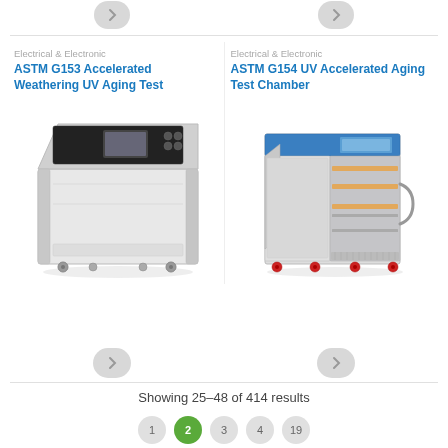Electrical & Electronic
ASTM G153 Accelerated Weathering UV Aging Test
[Figure (photo): ASTM G153 Accelerated Weathering UV Aging Test Chamber - a large silver/white rectangular cabinet with a slanted control panel on top and wheels at the bottom]
Electrical & Electronic
ASTM G154 UV Accelerated Aging Test Chamber
[Figure (photo): ASTM G154 UV Accelerated Aging Test Chamber - a stainless steel cabinet with blue top panel, open door showing interior UV lamps, and red caster wheels]
Showing 25-48 of 414 results
1  2  3  4  19